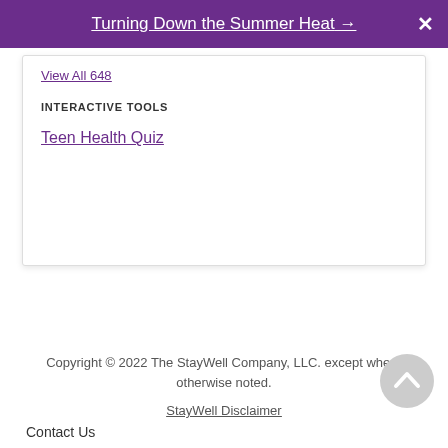Turning Down the Summer Heat →
View All 648
INTERACTIVE TOOLS
Teen Health Quiz
Copyright © 2022 The StayWell Company, LLC. except where otherwise noted.
StayWell Disclaimer
Contact Us